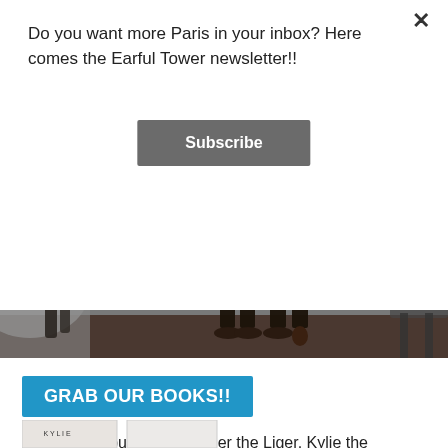Do you want more Paris in your inbox? Here comes the Earful Tower newsletter!!
Subscribe
[Figure (photo): Photo of people's legs and feet inside a cafe or restaurant with large windows showing Paris buildings in the background. Dark chairs visible on the left.]
GRAB OUR BOOKS!!
Here are all our books, Roger the Liger, Kylie the Crocodile, and Paris On Air. Click here for your copy.
[Figure (photo): Partial view of book covers at the bottom of the page.]